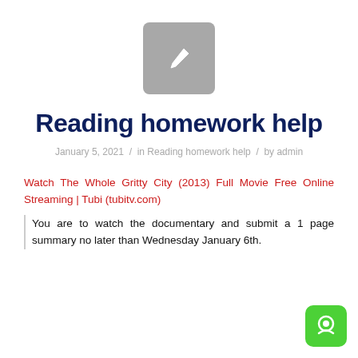[Figure (illustration): Gray rounded square icon with a white pencil/edit symbol in the center]
Reading homework help
January 5, 2021 / in Reading homework help / by admin
Watch The Whole Gritty City (2013) Full Movie Free Online Streaming | Tubi (tubitv.com)
You are to watch the documentary and submit a 1 page summary no later than Wednesday January 6th.
[Figure (logo): Green rounded square WhatsApp-style icon with white headphone/chat symbol]